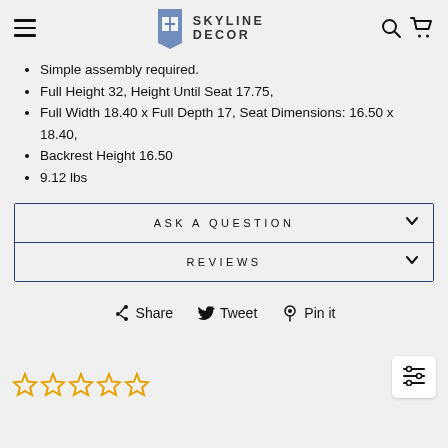Skyline Decor
Simple assembly required.
Full Height 32, Height Until Seat 17.75,
Full Width 18.40 x Full Depth 17, Seat Dimensions: 16.50 x 18.40,
Backrest Height 16.50
9.12 lbs
ASK A QUESTION
REVIEWS
Share   Tweet   Pin it